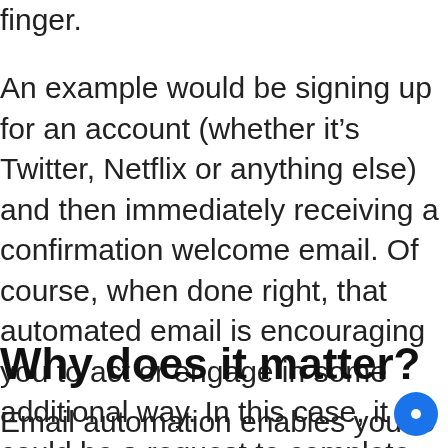finger.
An example would be signing up for an account (whether it's Twitter, Netflix or anything else) and then immediately receiving a confirmation welcome email. Of course, when done right, that automated email is encouraging you to act or engage in some additional way. In this case, it could be a request to complete your profile.
Why does it matter?
Email automation enables you to both save time and be more effective in the timing and point of